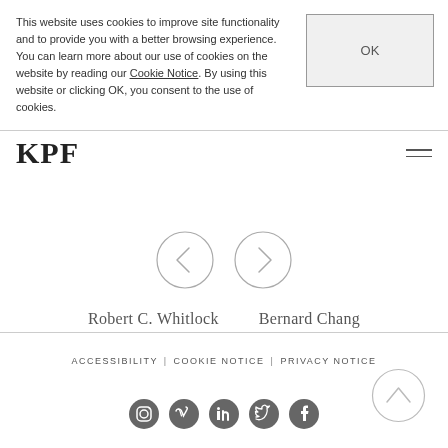This website uses cookies to improve site functionality and to provide you with a better browsing experience. You can learn more about our use of cookies on the website by reading our Cookie Notice. By using this website or clicking OK, you consent to the use of cookies.
[Figure (other): OK button for cookie consent]
[Figure (logo): KPF logo and hamburger menu navigation]
[Figure (other): Left and right navigation circle arrow buttons]
Robert C. Whitlock
Bernard Chang
[Figure (other): Scroll to top circle button with upward chevron]
ACCESSIBILITY | COOKIE NOTICE | PRIVACY NOTICE
[Figure (other): Social media icons: Instagram, Vimeo, LinkedIn, Twitter, Facebook]